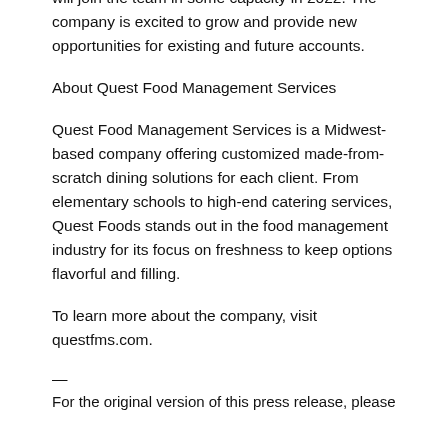Throughout all locations, hundreds of new employees will join the team in some capacity in 2022. The company is excited to grow and provide new opportunities for existing and future accounts.
About Quest Food Management Services
Quest Food Management Services is a Midwest-based company offering customized made-from-scratch dining solutions for each client. From elementary schools to high-end catering services, Quest Foods stands out in the food management industry for its focus on freshness to keep options flavorful and filling.
To learn more about the company, visit questfms.com.
—
For the original version of this press release, please